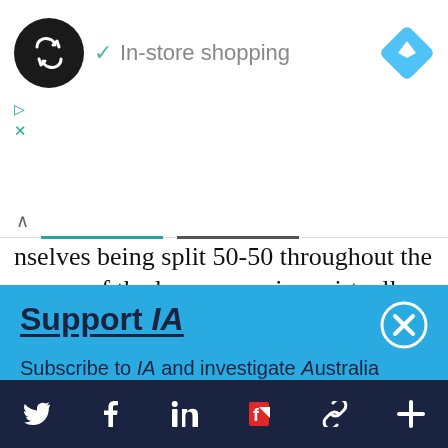[Figure (screenshot): Ad banner showing a circular dark logo with looping arrows, a teal checkmark, 'In-store shopping' text, and a blue navigation diamond icon on the right. Below are play and close (X) icons in teal.]
nselves being split 50-50 throughout the course of the long campaign, virtually every mainstream political commentator in the country predicted a comfortable Turnbull win.
Support IA
Subscribe to IA and investigate Australia today.
Close  Subscribe  Donate
[Figure (screenshot): Bottom navigation bar with Twitter, Facebook, LinkedIn, Flipboard, chain-link, and plus icons in white on dark navy background.]